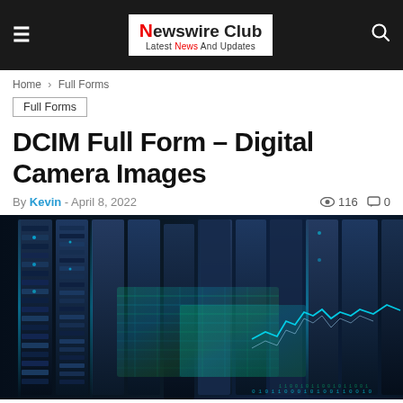Newswire Club — Latest News And Updates
Home › Full Forms
Full Forms
DCIM Full Form – Digital Camera Images
By Kevin - April 8, 2022  👁 116  💬 0
[Figure (photo): Data center server racks with blue lighting and digital network overlay graphics]